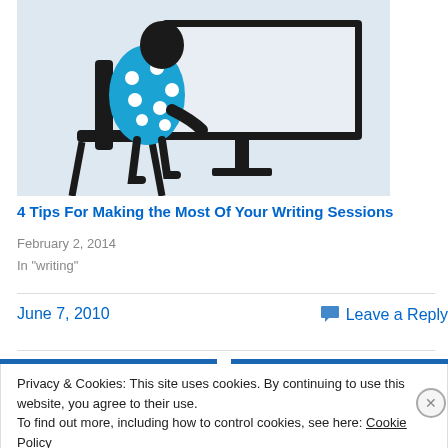[Figure (illustration): Illustration of a person in a blue polka-dot dress sitting at a desk with a computer monitor, viewed from the side. Light blue/grey background.]
4 Tips For Making the Most Of Your Writing Sessions
February 2, 2014
In "writing"
June 7, 2010
Leave a Reply
Privacy & Cookies: This site uses cookies. By continuing to use this website, you agree to their use.
To find out more, including how to control cookies, see here: Cookie Policy
Close and accept